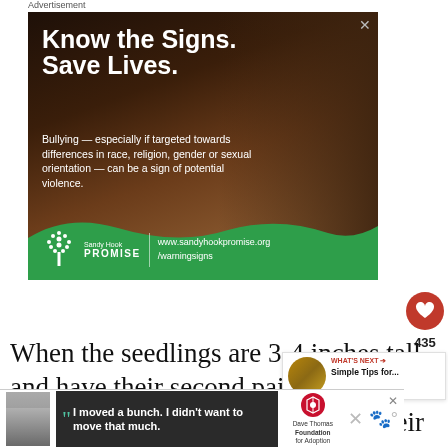[Figure (photo): Sandy Hook Promise advertisement showing a person sitting against a brick wall with the text 'Know the Signs. Save Lives.' and 'Bullying — especially if targeted towards differences in race, religion, gender or sexual orientation — can be a sign of potential violence.' with Sandy Hook Promise logo and website www.sandyhookpromise.org/warningsigns]
When the seedlings are 3-4 inches tall and have their second pair of leaves, it is time to gently take them out of their cell
[Figure (photo): Thumbnail image of autumn leaves for 'What's Next' section — Simple Tips for...]
[Figure (screenshot): Bottom advertisement: Dave Thomas Foundation for Adoption with quote from a young man 'I moved a bunch. I didn't want to move that much.']